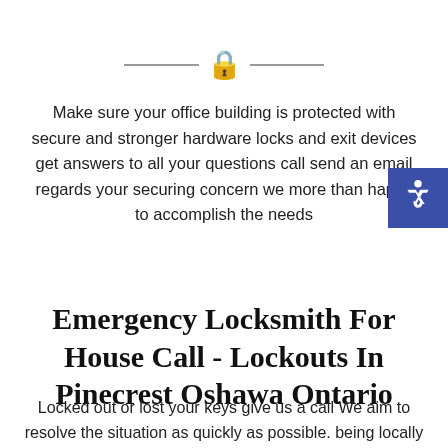[Figure (illustration): Decorative divider with a padlock emoji icon centered between two horizontal lines]
Make sure your office building is protected with secure and stronger hardware locks and exit devices get answers to all your questions call send an email regards your securing concern we more than happy to accomplish the needs
[Figure (illustration): Accessibility button icon (wheelchair symbol) in blue square, positioned at right edge]
Emergency Locksmith For House Call - Lockouts In Pinecrest Oshawa Ontario
Locked out or lost your keys give us a call We aim to resolve the situation as quickly as possible. being locally service provider as is benefits most of